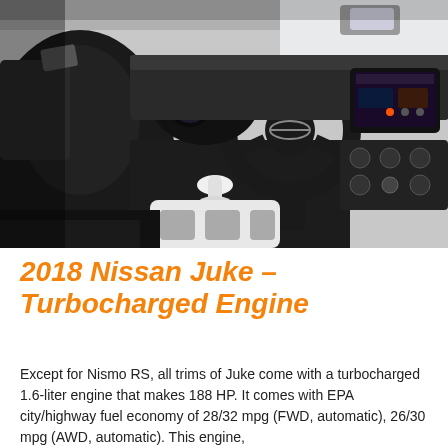[Figure (photo): Interior view of a 2018 Nissan Juke showing the driver's seat, steering wheel with Nissan logo, center console with gear shifter, infotainment screen, and dashboard. Black and white/silver color scheme.]
2018 Nissan Juke – Turbocharged Engine
Except for Nismo RS, all trims of Juke come with a turbocharged 1.6-liter engine that makes 188 HP. It comes with EPA city/highway fuel economy of 28/32 mpg (FWD, automatic), 26/30 mpg (AWD, automatic). This engine,